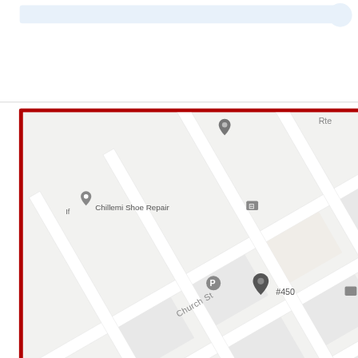[Figure (map): Google Maps screenshot showing 245 Main St, White Plains NY with a red border outline. Shows Chillemi Shoe Repair, The Opus Westchester Autograph Collection, Five Guys Fast Food, Sunshine Pharmacy, Via Garibaldi Italian restaurant, parking markers, and a location pin at #450 on Church St.]
245 Main St Suite 450 White Plains, NY 10601